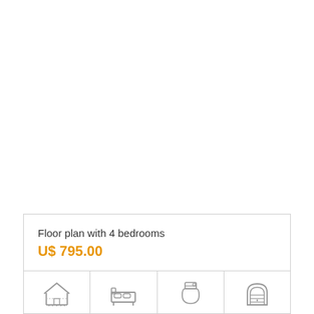Floor plan with 4 bedrooms
U$ 795.00
[Figure (infographic): Four property feature icons: house/floor plan, bed, toilet/bathroom, garage]